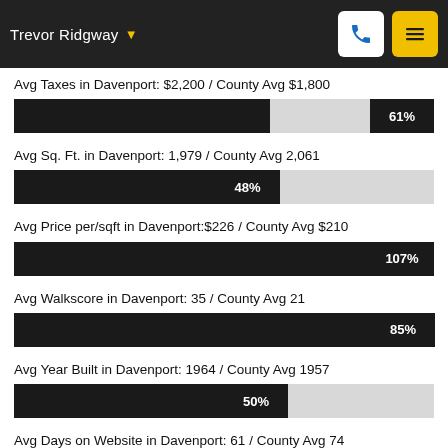Trevor Ridgway
Avg Taxes in Davenport: $2,200 / County Avg $1,800
[Figure (bar-chart): Avg Taxes]
Avg Sq. Ft. in Davenport: 1,979 / County Avg 2,061
[Figure (bar-chart): Avg Sq. Ft.]
Avg Price per/sqft in Davenport:$226 / County Avg $210
[Figure (bar-chart): Avg Price per/sqft]
Avg Walkscore in Davenport: 35 / County Avg 21
[Figure (bar-chart): Avg Walkscore]
Avg Year Built in Davenport: 1964 / County Avg 1957
[Figure (bar-chart): Avg Year Built]
Avg Days on Website in Davenport: 61 / County Avg 74